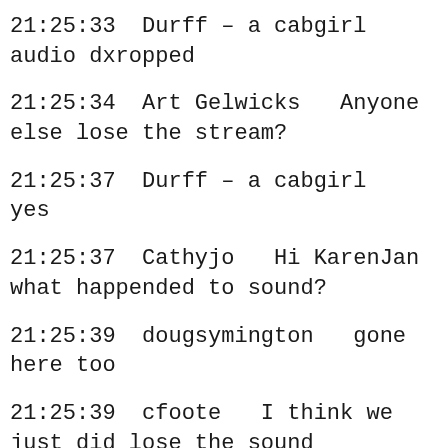21:25:33  Durff – a cabgirl   audio dxropped
21:25:34  Art Gelwicks   Anyone else lose the stream?
21:25:37  Durff – a cabgirl   yes
21:25:37  Cathyjo   Hi KarenJan what happended to sound?
21:25:39  dougsymington   gone here too
21:25:39  cfoote   I think we just did lose the sound
21:25:42  emapey   YES
21:25:44  JonWagner   It should be back